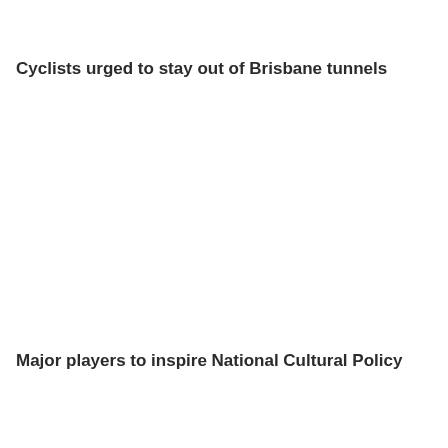Cyclists urged to stay out of Brisbane tunnels
Major players to inspire National Cultural Policy